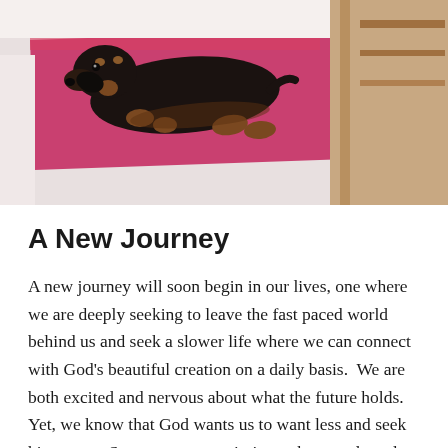[Figure (photo): A black and tan dachshund puppy lying on a pink/magenta bench or sofa, with wooden furniture visible in the background. The image is cropped showing primarily the dog and the pink surface.]
A New Journey
A new journey will soon begin in our lives, one where we are deeply seeking to leave the fast paced world behind us and seek a slower life where we can connect with God’s beautiful creation on a daily basis.  We are both excited and nervous about what the future holds.  Yet, we know that God wants us to want less and seek him more.  So, we are on a mission to have and need less in our lives.  (FYI- Everything is for sale).  The next phase of our lives will be to let more of the worldly things go